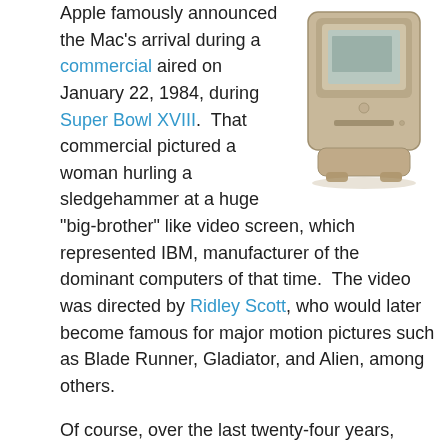[Figure (illustration): Illustration of a classic Apple Macintosh computer (beige/tan color) from 1984, showing the compact all-in-one design with a small monitor screen, disk drive slot, and base.]
Apple famously announced the Mac's arrival during a commercial aired on January 22, 1984, during Super Bowl XVIII. That commercial pictured a woman hurling a sledgehammer at a huge "big-brother" like video screen, which represented IBM, manufacturer of the dominant computers of that time. The video was directed by Ridley Scott, who would later become famous for major motion pictures such as Blade Runner, Gladiator, and Alien, among others.
Of course, over the last twenty-four years, there have been some ups and downs for Apple, but today many experts (including me) believe that Apple makes the best personal computer on the market today. Apple is constantly breaking new ground with both their operating systems, software, and stunningly beautiful hardware. As a tribute to the Mac, I have pasted the original "1984" commercial below, and I look forward to what Apple has in store for us over the next...